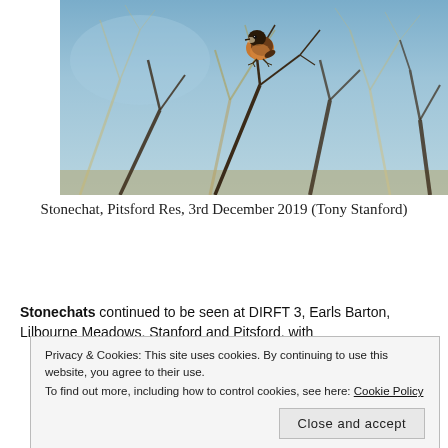[Figure (photo): A stonechat bird perched on a bare twig against a blue-grey sky, with blurred branches in the foreground and background. Photo taken at Pitsford Res, 3rd December 2019 by Tony Stanford.]
Stonechat, Pitsford Res, 3rd December 2019 (Tony Stanford)
Stonechats continued to be seen at DIRFT 3, Earls Barton, Lilbourne Meadows, Stanford and Pitsford, with
Privacy & Cookies: This site uses cookies. By continuing to use this website, you agree to their use.
To find out more, including how to control cookies, see here: Cookie Policy
Close and accept
Twitter  Facebook  Email